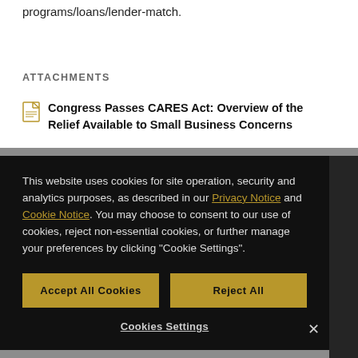programs/loans/lender-match.
ATTACHMENTS
Congress Passes CARES Act: Overview of the Relief Available to Small Business Concerns
This website uses cookies for site operation, security and analytics purposes, as described in our Privacy Notice and Cookie Notice. You may choose to consent to our use of cookies, reject non-essential cookies, or further manage your preferences by clicking "Cookie Settings".
Accept All Cookies
Reject All
Cookies Settings